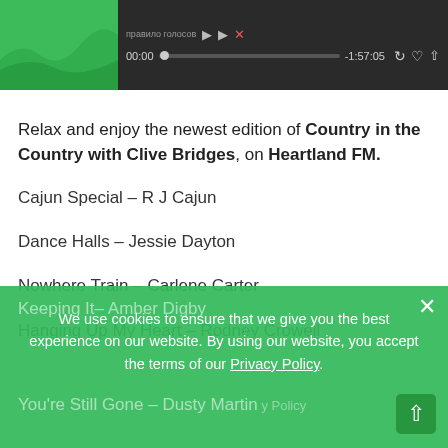[Figure (screenshot): Media player bar with green album art thumbnail, playback controls, progress bar showing 00:00 and -1:57:05, repeat, heart, and share icons on dark background]
Relax and enjoy the newest edition of Country in the Country with Clive Bridges, on Heartland FM.
Cajun Special – R J Cajun
Dance Halls – Jessie Dayton
Nowhere Train – Carlene Carter
Hanging Up My Heart – Rodney Crowell
Keeping It– Amber Digby
You're Still Gone – Dusty Martin
We use cookies to ensure that we give you the best experience on our website. By using our website, you accept the terms of our Privacy Policy.